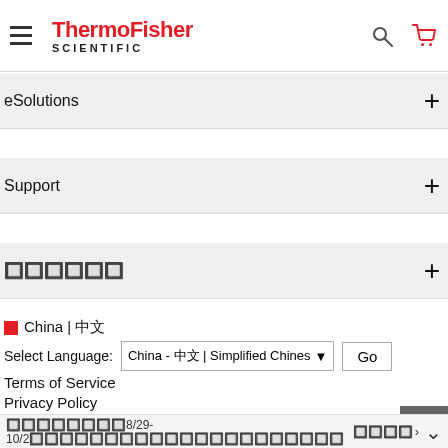[Figure (logo): ThermoFisher Scientific logo with hamburger menu, search icon, and cart icon]
eSolutions +
Support +
?????? +
China | ??
Select Language: China - ???? | Simplified Chines  Go
Terms of Service
Privacy Policy
Price & Freight Policy
????????8/29-10/2???????????????????? ???? ›